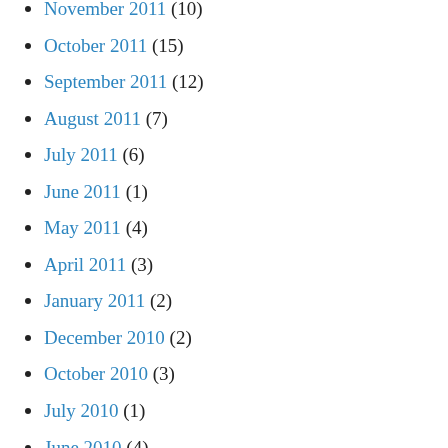November 2011 (10)
October 2011 (15)
September 2011 (12)
August 2011 (7)
July 2011 (6)
June 2011 (1)
May 2011 (4)
April 2011 (3)
January 2011 (2)
December 2010 (2)
October 2010 (3)
July 2010 (1)
June 2010 (4)
May 2010 (6)
April 2010 (4)
March 2010 (2)
January 2010 (2)